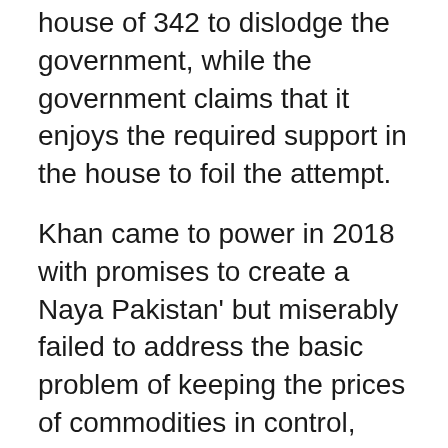house of 342 to dislodge the government, while the government claims that it enjoys the required support in the house to foil the attempt.
Khan came to power in 2018 with promises to create a Naya Pakistan' but miserably failed to address the basic problem of keeping the prices of commodities in control, giving air to the sails of opposition ships to make war on his government.
With major allies of Khan looking the other way and about two dozen PTI members of Parliament revolting against him, and the